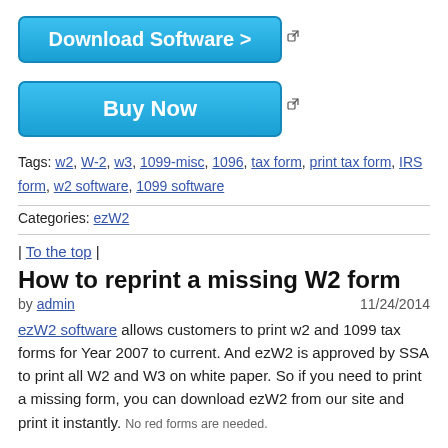[Figure (other): Blue Download Software button with external link icon]
[Figure (other): Blue Buy Now button with external link icon]
Tags: w2, W-2, w3, 1099-misc, 1096, tax form, print tax form, IRS form, w2 software, 1099 software
Categories: ezW2
| To the top |
How to reprint a missing W2 form
by admin  11/24/2014
ezW2 software allows customers to print w2 and 1099 tax forms for Year 2007 to current. And ezW2 is approved by SSA to print all W2 and W3 on white paper. So if you need to print a missing form, you can download ezW2 from our site and print it instantly. No red forms are needed.
Here is the free download link of ezW2. Please make sure you download the CORRECT year version. For example: If you need to print Year 2013 tax forms, you should download ezW2 2013.